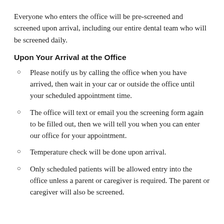Everyone who enters the office will be pre-screened and screened upon arrival, including our entire dental team who will be screened daily.
Upon Your Arrival at the Office
Please notify us by calling the office when you have arrived, then wait in your car or outside the office until your scheduled appointment time.
The office will text or email you the screening form again to be filled out, then we will tell you when you can enter our office for your appointment.
Temperature check will be done upon arrival.
Only scheduled patients will be allowed entry into the office unless a parent or caregiver is required. The parent or caregiver will also be screened.